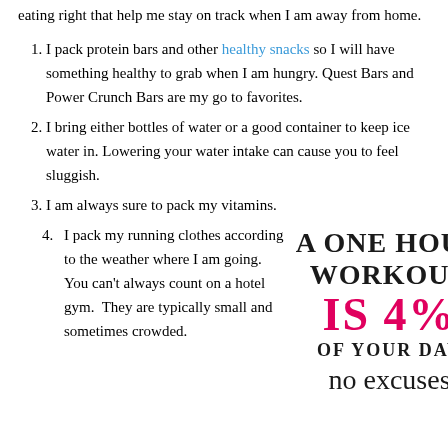eating right that help me stay on track when I am away from home.
I pack protein bars and other healthy snacks so I will have something healthy to grab when I am hungry. Quest Bars and Power Crunch Bars are my go to favorites.
I bring either bottles of water or a good container to keep ice water in. Lowering your water intake can cause you to feel sluggish.
I am always sure to pack my vitamins.
I pack my running clothes according to the weather where I am going. You can’t always count on a hotel gym.  They are typically small and sometimes crowded.
[Figure (infographic): A ONE HOUR WORKOUT IS 4% OF YOUR DAY no excuses — motivational fitness infographic with bold black and pink text]